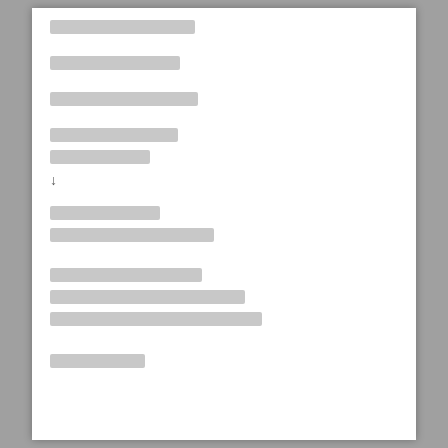[redacted/illegible line 1]
[redacted/illegible line 2]
[redacted/illegible line 3]
[redacted/illegible line 4]
[redacted/illegible line 5]
↓
[redacted/illegible line 6]
[redacted/illegible line 7]
[redacted/illegible line 8]
[redacted/illegible line 9]
[redacted/illegible line 10]
[redacted/illegible line 11]